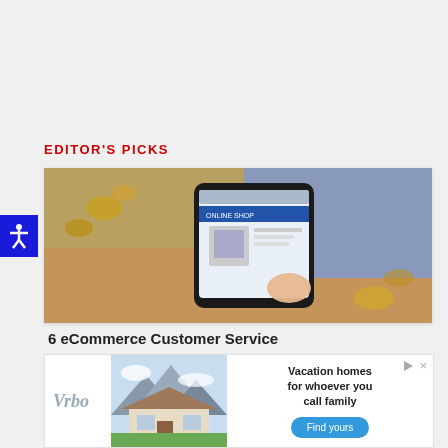EDITOR'S PICKS
[Figure (photo): A hand holding a smartphone displaying an online shop website, with autumn leaves blurred in the background.]
6 eCommerce Customer Service
[Figure (other): Vrbo advertisement banner showing a vacation home with mountains in background, text reads 'Vacation homes for whoever you call family' with a 'Find yours' button.]